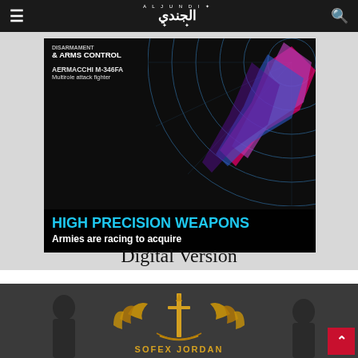ALJUNDI – الجندي – navigation bar with hamburger menu and search icon
[Figure (photo): Magazine cover showing 'HIGH PRECISION WEAPONS – Armies are racing to acquire', featuring AERMACCHI M-346FA Multirole attack fighter, with radar background and colorful fighter jet graphic]
Digital Version
[Figure (logo): SOFEX JORDAN logo with golden eagle/wings and sword emblem on dark background with military personnel silhouettes]